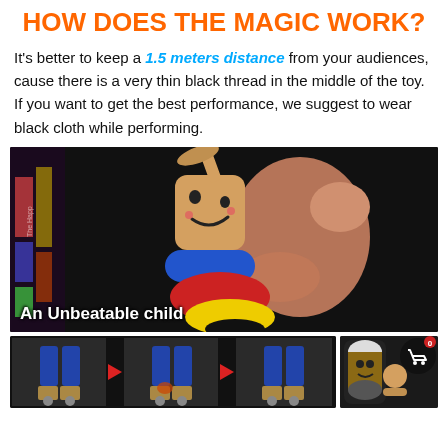HOW DOES THE MAGIC WORK?
It's better to keep a 1.5 meters distance from your audiences, cause there is a very thin black thread in the middle of the toy. If you want to get the best performance, we suggest to wear black cloth while performing.
[Figure (photo): A hand holding a colorful wooden Kendama-style toy character with a smiley face, blue, red, and yellow sections, against a dark background. Text overlay reads 'An Unbeatable child'.]
[Figure (photo): Bottom strip showing a sequence of demonstration images of the magic toy, with arrows between steps, and on the right a product image of the toy next to a shopping cart icon with badge showing 0.]